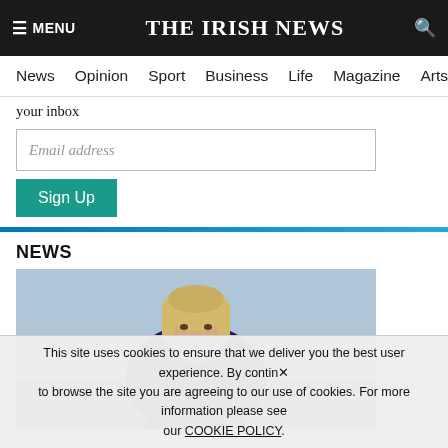≡ MENU  THE IRISH NEWS  🔍
News  Opinion  Sport  Business  Life  Magazine  Arts
your inbox
Email address
Sign Up
NEWS
[Figure (photo): A blonde woman in a dark purple jacket standing at a podium against a blue background, appearing to be at a press conference or official event.]
This site uses cookies to ensure that we deliver you the best user experience. By continuing to browse the site you are agreeing to our use of cookies. For more information please see our COOKIE POLICY.